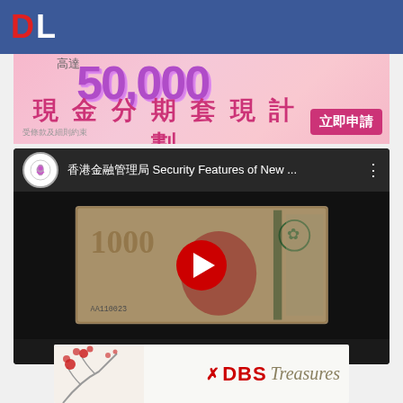DL
[Figure (photo): Pink advertisement banner for a cash installment plan (現金分期套現計劃) showing amount up to 50,000, with text 高達 50,000, 現金分期套現計劃, 立即申請, and small print 受條款及細則約束]
[Figure (screenshot): YouTube video embed showing a Hong Kong 1000 dollar banknote with title '香港金融管理局 Security Features of New...' and a red play button overlay, with YouTube channel icon]
[Figure (photo): DBS Treasures bank advertisement banner showing red flower branch on left and DBS Treasures logo on right]